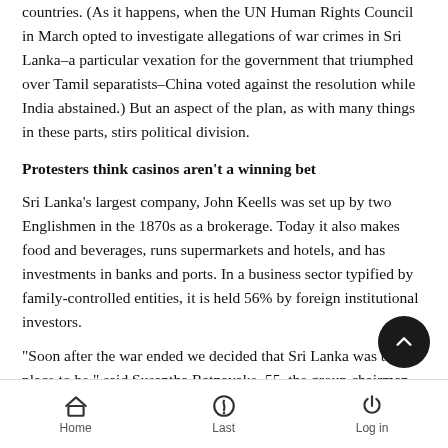countries. (As it happens, when the UN Human Rights Council in March opted to investigate allegations of war crimes in Sri Lanka–a particular vexation for the government that triumphed over Tamil separatists–China voted against the resolution while India abstained.) But an aspect of the plan, as with many things in these parts, stirs political division.
Protesters think casinos aren't a winning bet
Sri Lanka's largest company, John Keells was set up by two Englishmen in the 1870s as a brokerage. Today it also makes food and beverages, runs supermarkets and hotels, and has investments in banks and ports. In a business sector typified by family-controlled entities, it is held 56% by foreign institutional investors.
"Soon after the war ended we decided that Sri Lanka was the place to be," said Susantha Ratnayake, 55, the group chairman
Home   Last   Log in